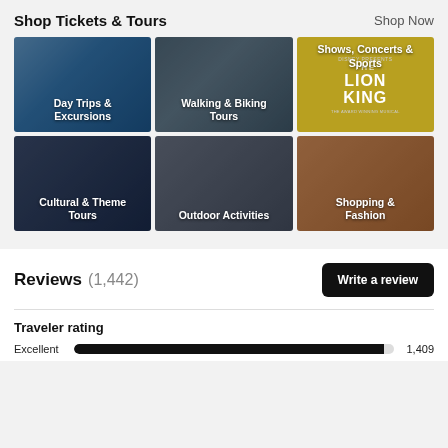Shop Tickets & Tours
Shop Now
[Figure (photo): Grid of 6 tiles: Day Trips & Excursions (city skyline), Walking & Biking Tours (aerial city view), Shows Concerts & Sports (Lion King poster on yellow), Cultural & Theme Tours (Statue of Liberty), Outdoor Activities (helicopter and skyscraper), Shopping & Fashion (outdoor mall street)]
Reviews (1,442)
Write a review
Traveler rating
Excellent   1,409